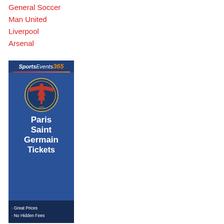General Soccer
Man United
Liverpool
Arsenal
[Figure (illustration): SportsEvents365 advertisement banner for Paris Saint Germain Tickets featuring the PSG club crest, brand logo, team name, and bullet points: Great Prices, No Hidden Fees]